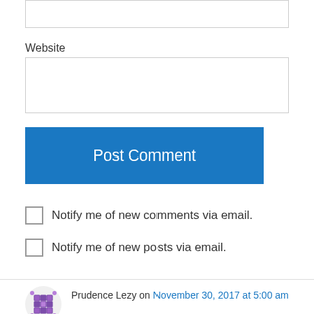Website
Post Comment
Notify me of new comments via email.
Notify me of new posts via email.
Prudence Lezy on November 30, 2017 at 5:00 am
Very moving. Thank you, Abigail.
Like
Reply